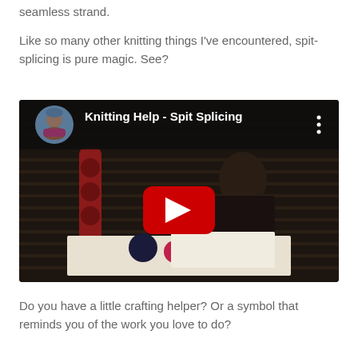seamless strand.
Like so many other knitting things I've encountered, spit-splicing is pure magic. See?
[Figure (screenshot): YouTube video thumbnail showing a woman at a desk with yarn and knitting supplies. The video title reads 'Knitting Help - Spit Splicing'. A red YouTube play button is visible in the center. The image is dark with a YouTube-style header showing a circular profile image of a woman in a blue hat.]
Do you have a little crafting helper? Or a symbol that reminds you of the work you love to do?